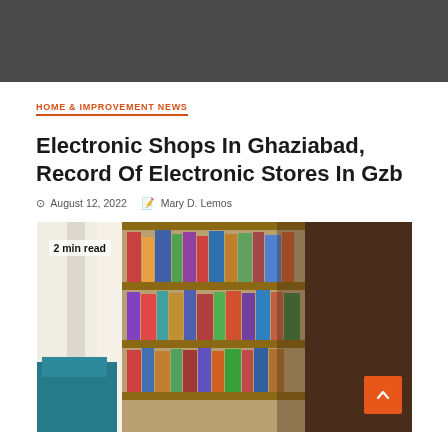[Figure (photo): Dark gray banner at top of page, appears to be a header image placeholder]
HOME & IMPROVEMENT NEWS
Electronic Shops In Ghaziabad, Record Of Electronic Stores In Gzb
August 12, 2022   Mary D. Lemos
[Figure (photo): Bookshelf with colorful books and a teal armchair visible on the left, with a dark brown bookcase on the right. Text overlay reads '2 min read'.]